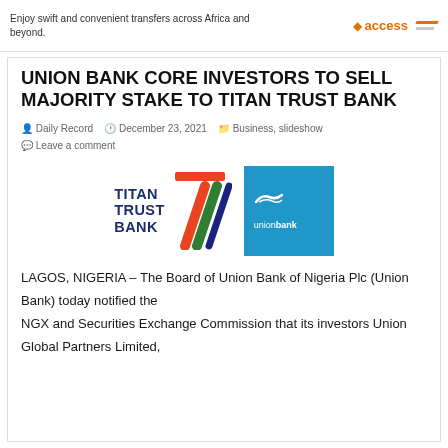[Figure (infographic): Access Bank advertisement banner: 'Enjoy swift and convenient transfers across Africa and beyond.' with Access Bank logo and orange slash design]
UNION BANK CORE INVESTORS TO SELL MAJORITY STAKE TO TITAN TRUST BANK
Daily Record  December 23, 2021  Business, slideshow  Leave a comment
[Figure (logo): Titan Trust Bank logo alongside Union Bank logo on blue background]
LAGOS, NIGERIA – The Board of Union Bank of Nigeria Plc (Union Bank) today notified the NGX and Securities Exchange Commission that its investors Union Global Partners Limited,